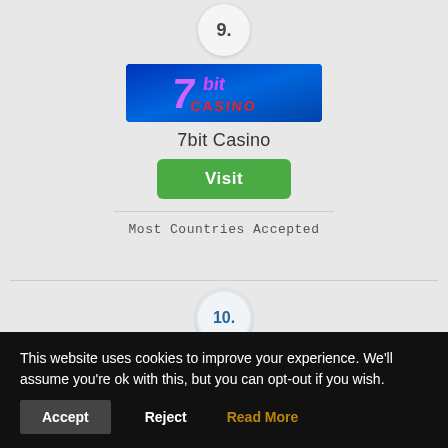9.
[Figure (logo): 7bit Casino logo — blue gradient background with stylized '7bit CASINO' text in pink/red neon style]
7bit Casino
Visit
Most Countries Accepted
10.
[Figure (logo): Slotsroom.com logo — purple background with white text 'slotsroom .com' and a game controller icon]
This website uses cookies to improve your experience. We'll assume you're ok with this, but you can opt-out if you wish.
Accept
Reject
Read More